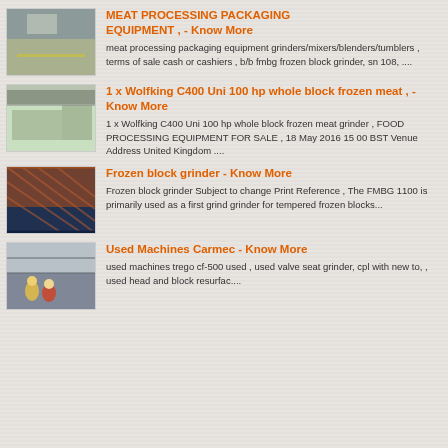[Figure (photo): Industrial facility floor with yellow line markings]
MEAT PROCESSING PACKAGING EQUIPMENT , - Know More
meat processing packaging equipment grinders/mixers/blenders/tumblers , terms of sale cash or cashiers , b/b fmbg frozen block grinder, sn 108, ....
[Figure (photo): Large industrial food processing equipment in a facility]
1 x Wolfking C400 Uni 100 hp whole block frozen meat , - Know More
1 x Wolfking C400 Uni 100 hp whole block frozen meat grinder , FOOD PROCESSING EQUIPMENT FOR SALE , 18 May 2016 15 00 BST Venue Address United Kingdom ....
[Figure (photo): Close-up of frozen block grinder machine mesh/grating]
Frozen block grinder - Know More
Frozen block grinder Subject to change Print Reference , The FMBG 1100 is primarily used as a first grind grinder for tempered frozen blocks...
[Figure (photo): Workers in hard hats in an industrial facility]
Used Machines Carmec - Know More
used machines trego cf-500 used , used valve seat grinder, cpl with new to, , used head and block resurfac....